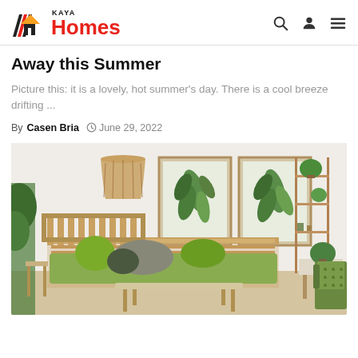KAYA Homes
Away this Summer
Picture this: it is a lovely, hot summer's day. There is a cool breeze drifting ...
By Casen Bria  June 29, 2022
[Figure (photo): Bright summer living room interior with green sofa with pillows, wicker pendant lamp, two framed botanical prints on wall, wooden ladder shelf with plants, wooden coffee table, and olive green armchair]